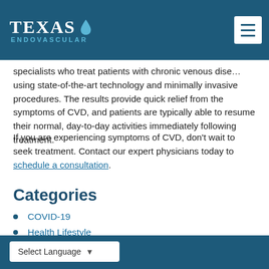Texas Endovascular
specialists who treat patients with chronic venous disease using state-of-the-art technology and minimally invasive procedures. The results provide quick relief from the symptoms of CVD, and patients are typically able to resume their normal, day-to-day activities immediately following treatment.
If you are experiencing symptoms of CVD, don’t wait to seek treatment. Contact our expert physicians today to schedule a consultation.
Categories
COVID-19
Health Lifestyle
News
Select Language